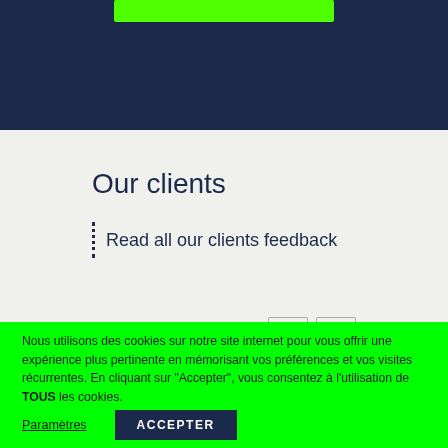[Figure (screenshot): Dark navy blue header section with a green button at the top]
Our clients
Read all our clients feedback
Nous utilisons des cookies sur notre site internet pour vous offrir une expérience plus pertinente en mémorisant vos préférences et vos visites récurrentes. En cliquant sur "Accepter", vous consentez à l'utilisation de TOUS les cookies.
Paramètres
ACCEPTER